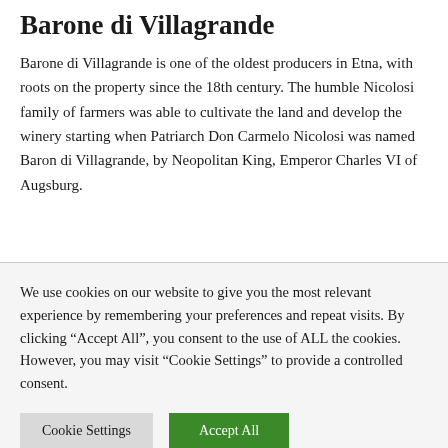Barone di Villagrande
Barone di Villagrande is one of the oldest producers in Etna, with roots on the property since the 18th century. The humble Nicolosi family of farmers was able to cultivate the land and develop the winery starting when Patriarch Don Carmelo Nicolosi was named Baron di Villagrande, by Neopolitan King, Emperor Charles VI of Augsburg.
We use cookies on our website to give you the most relevant experience by remembering your preferences and repeat visits. By clicking “Accept All”, you consent to the use of ALL the cookies. However, you may visit “Cookie Settings” to provide a controlled consent.